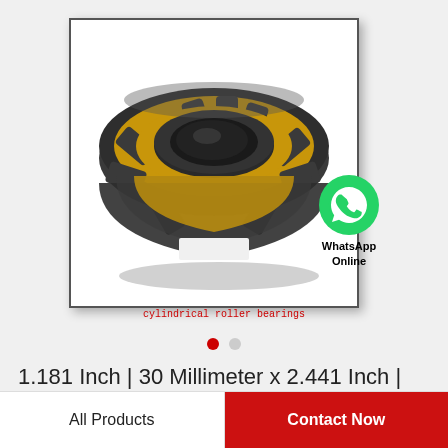[Figure (photo): 3D rendering of a cylindrical roller bearing with dark gray outer/inner rings and gold-colored cage with rollers visible]
cylindrical roller bearings
[Figure (logo): WhatsApp green circle icon with phone handset, labeled WhatsApp Online]
1.181 Inch | 30 Millimeter x 2.441 Inch | 62 Millimeter x 0.63 Inch | 16 Millimeter NTN…
All Products
Contact Now